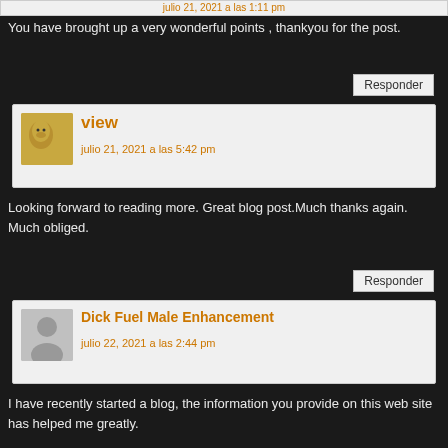julio 21, 2021 a las 1:11 pm
You have brought up a very wonderful points , thankyou for the post.
Responder
view
julio 21, 2021 a las 5:42 pm
Looking forward to reading more. Great blog post.Much thanks again. Much obliged.
Responder
Dick Fuel Male Enhancement
julio 22, 2021 a las 2:44 pm
I have recently started a blog, the information you provide on this web site has helped me greatly.
Thanks for all of your time & work.
my website – Dick Fuel Male Enhancement
Responder